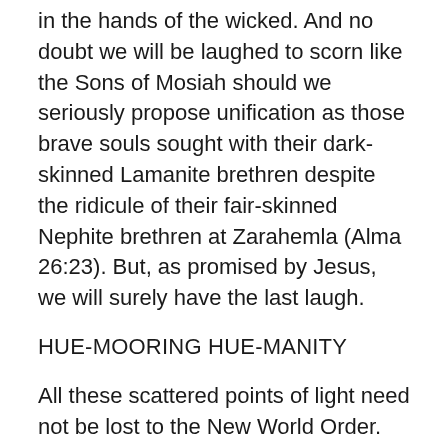in the hands of the wicked. And no doubt we will be laughed to scorn like the Sons of Mosiah should we seriously propose unification as those brave souls sought with their dark-skinned Lamanite brethren despite the ridicule of their fair-skinned Nephite brethren at Zarahemla (Alma 26:23). But, as promised by Jesus, we will surely have the last laugh.
HUE-MOORING HUE-MANITY
All these scattered points of light need not be lost to the New World Order. We shall use the pure laughter of children as hue-moorings with which the 12 Hues of Israel in the House of Israel may draw themselves in from the ocean of emotion and anchor themselves to the land. It may sound like some corny line from a Care Bear cartoon, but truly, laughter links us together by building